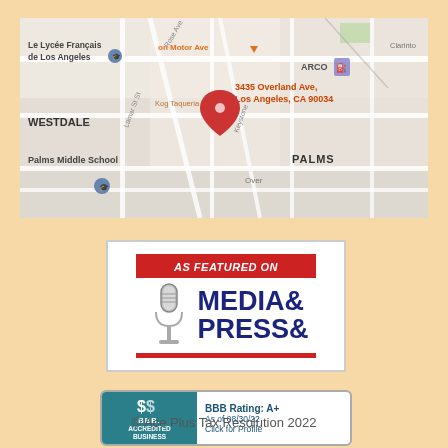[Figure (map): Google Maps showing location at 3435 Overland Ave, Los Angeles, CA 90034, with pin marker and surrounding streets including Palms neighborhood, Palms Middle School, Le Lycee Francais de Los Angeles, ARCO station, Westdale area, and street labels.]
[Figure (logo): As Featured On Media & Press badge with red banner at top reading AS FEATURED ON, vintage microphone graphic on left, and MEDIA & PRESS& in large dark blue bold text, with red bar at bottom.]
[Figure (logo): Better Business Bureau Accredited Business badge. Teal left panel with BBB logo and ACCREDITED BUSINESS text. Right side shows BBB Rating: A+, As of 08/30/22, Click for Profile.]
© Ace Plus Tax Resolution 2022